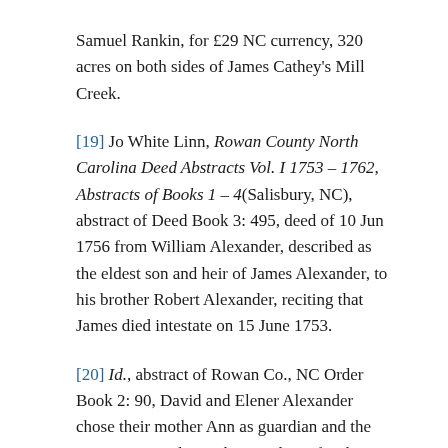Samuel Rankin, for £29 NC currency, 320 acres on both sides of James Cathey's Mill Creek.
[19] Jo White Linn, Rowan County North Carolina Deed Abstracts Vol. I 1753 – 1762, Abstracts of Books 1 – 4(Salisbury, NC), abstract of Deed Book 3: 495, deed of 10 Jun 1756 from William Alexander, described as the eldest son and heir of James Alexander, to his brother Robert Alexander, reciting that James died intestate on 15 June 1753.
[20] Id., abstract of Rowan Co., NC Order Book 2: 90, David and Elener Alexander chose their mother Ann as guardian and the court appointed Ann the guardian of Robert, about